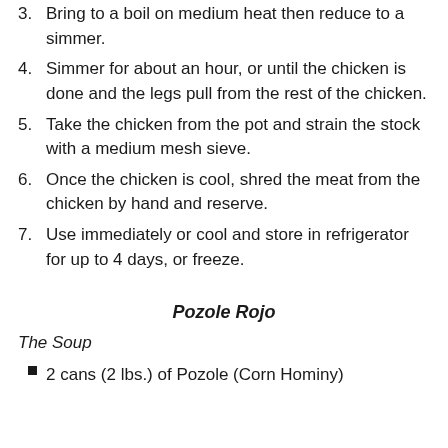3. Bring to a boil on medium heat then reduce to a simmer.
4. Simmer for about an hour, or until the chicken is done and the legs pull from the rest of the chicken.
5. Take the chicken from the pot and strain the stock with a medium mesh sieve.
6. Once the chicken is cool, shred the meat from the chicken by hand and reserve.
7. Use immediately or cool and store in refrigerator for up to 4 days, or freeze.
Pozole Rojo
The Soup
2 cans (2 lbs.) of Pozole (Corn Hominy)